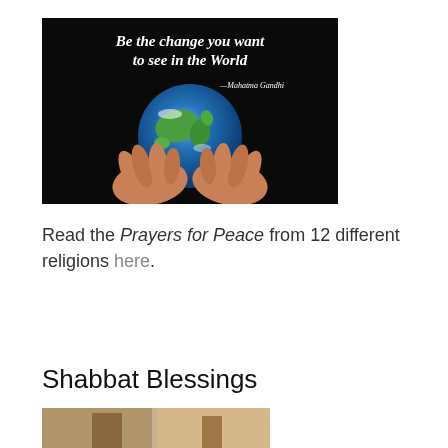[Figure (illustration): Motivational quote image with black background showing hands holding a globe of the Earth. White handwritten-style text reads 'Be the change you want to see in the World' with attribution '—Mahatma Gandhi' in smaller italic text.]
Read the Prayers for Peace from 12 different religions here.
Shabbat Blessings
[Figure (photo): Partial bottom image, cropped, appears to show people or a religious scene related to Shabbat Blessings.]